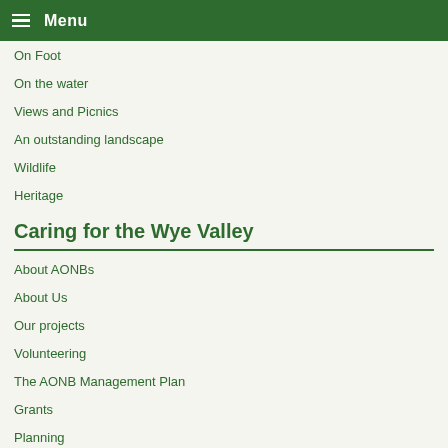Menu
On Foot
On the water
Views and Picnics
An outstanding landscape
Wildlife
Heritage
Caring for the Wye Valley
About AONBs
About Us
Our projects
Volunteering
The AONB Management Plan
Grants
Planning